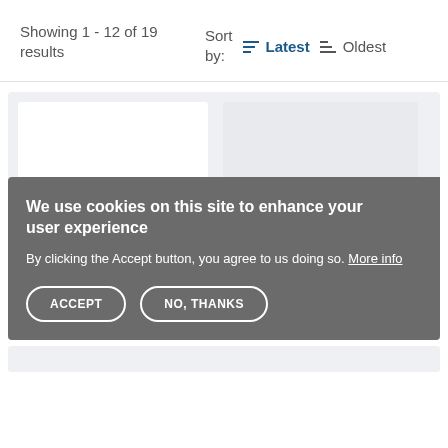Showing 1 - 12 of 19 results
Sort by:
Latest
Oldest
[Figure (screenshot): Search results page with card layout on light grey background, showing partial content cards]
We use cookies on this site to enhance your user experience
By clicking the Accept button, you agree to us doing so. More info
ACCEPT
NO, THANKS